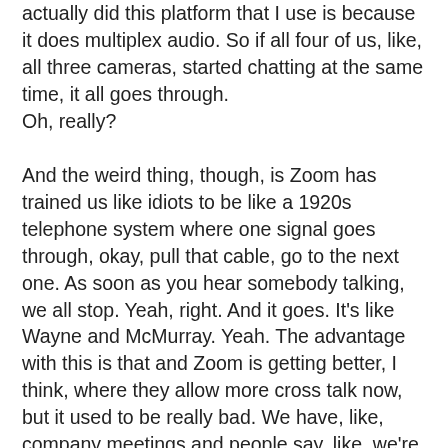actually did this platform that I use is because it does multiplex audio. So if all four of us, like, all three cameras, started chatting at the same time, it all goes through.
Oh, really?
And the weird thing, though, is Zoom has trained us like idiots to be like a 1920s telephone system where one signal goes through, okay, pull that cable, go to the next one. As soon as you hear somebody talking, we all stop. Yeah, right. And it goes. It's like Wayne and McMurray. Yeah. The advantage with this is that and Zoom is getting better, I think, where they allow more cross talk now, but it used to be really bad. We have, like, company meetings and people say, like, we're going to welcome all the new recruits. Right. You got a bunch of new hires. Okay, everybody come off mute and let's give them a round of applause. There's 400 people, but only one of them gets the audio.